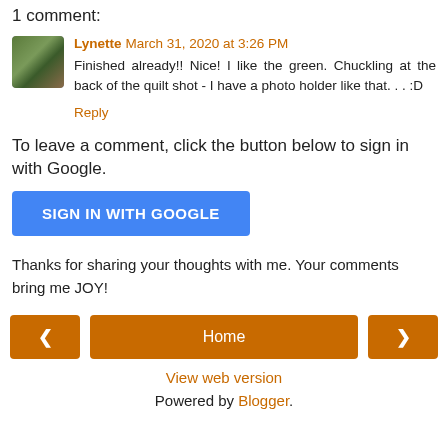1 comment:
Lynette March 31, 2020 at 3:26 PM
Finished already!! Nice! I like the green. Chuckling at the back of the quilt shot - I have a photo holder like that. . . :D
Reply
To leave a comment, click the button below to sign in with Google.
SIGN IN WITH GOOGLE
Thanks for sharing your thoughts with me. Your comments bring me JOY!
‹  Home  ›
View web version
Powered by Blogger.